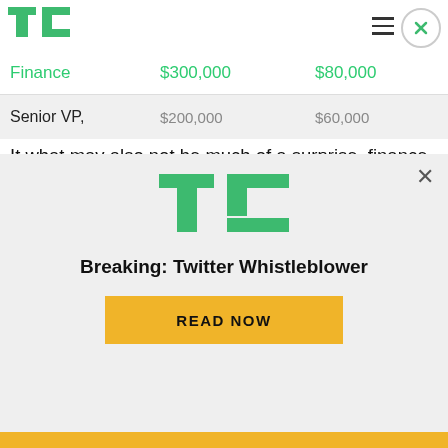TechCrunch logo and navigation
|  |  |  |
| --- | --- | --- |
| Finance | $300,000 | $80,000 |
| Senior VP, | $200,000 | $60,000 |
It what may also not be much of a surprise, finance has the highest-paying jobs for those looking for the most money at an entry-level position. User-experience designers and product engineers are the two highest-paying entry-level jobs in tech, with
[Figure (other): TechCrunch promotional modal overlay with TC logo, 'Breaking: Twitter Whistleblower' headline, and 'READ NOW' button]
Breaking: Twitter Whistleblower